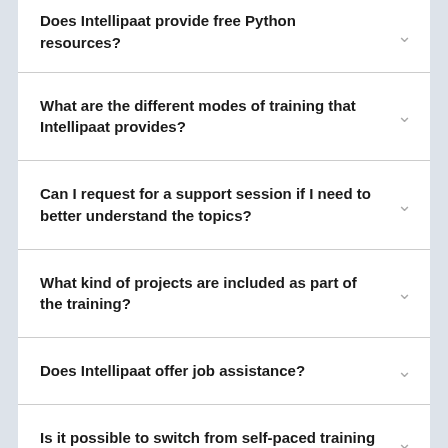Does Intellipaat provide free Python resources?
What are the different modes of training that Intellipaat provides?
Can I request for a support session if I need to better understand the topics?
What kind of projects are included as part of the training?
Does Intellipaat offer job assistance?
Is it possible to switch from self-paced training to instructor-led training?